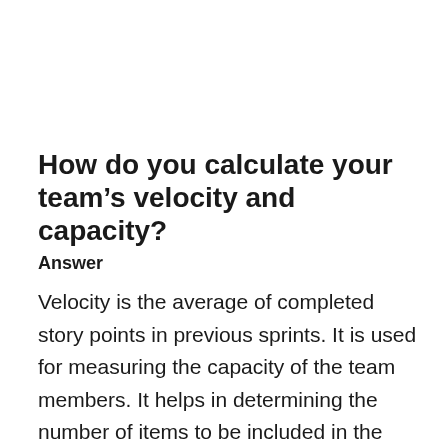How do you calculate your team's velocity and capacity?
Answer
Velocity is the average of completed story points in previous sprints. It is used for measuring the capacity of the team members. It helps in determining the number of items to be included in the next sprint.